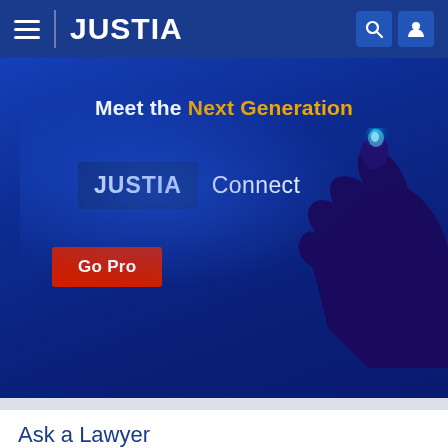JUSTIA
[Figure (screenshot): Justia Connect promotional banner with text 'Meet the Next Generation' and 'JUSTIA Connect' logo, a glowing hand illustration, and a 'Go Pro' button on a dark blue background]
Ask a Lawyer
Question: